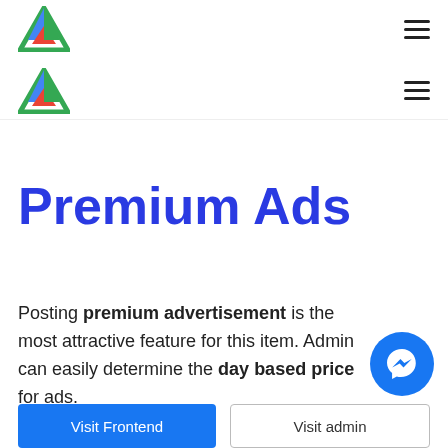[Logo] [Hamburger menu]
[Logo] [Hamburger menu]
Premium Ads
Posting premium advertisement is the most attractive feature for this item. Admin can easily determine the day based price for ads.
[Figure (illustration): Facebook Messenger chat button (blue circle with messenger icon)]
Visit Frontend
Visit admin